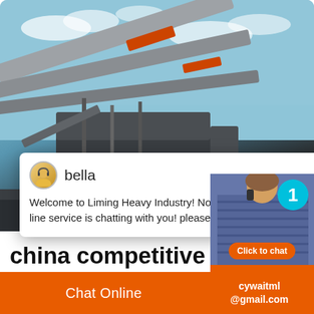[Figure (photo): Photo of heavy industrial machinery (concrete crusher/mining equipment) against a blue sky background]
bella
Welcome to Liming Heavy Industry! Now our online service is chatting with you! please choose: 1.English
china competitive mini mobile concrete crusher
2020-0-22   china competitive mini mobil...
[Figure (photo): Customer service representative portrait with chat badge showing '1' and 'Click to chat' button and 'Enquiry' button]
Chat Online    cywaitml@gmail.com